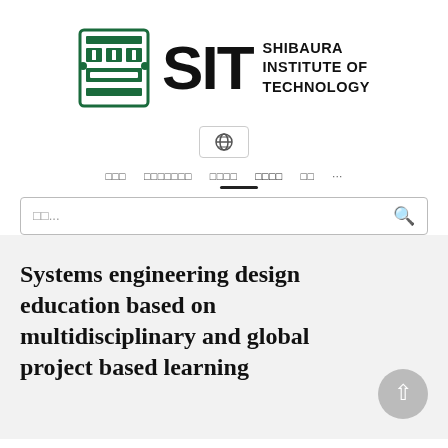[Figure (logo): Shibaura Institute of Technology (SIT) logo with crest icon, bold SIT lettering, and text SHIBAURA INSTITUTE OF TECHNOLOGY]
[Figure (other): Globe/language selector icon button]
□□□   □□□□□□□   □□□□   □□□□   □□   ···
□□...
Systems engineering design education based on multidisciplinary and global project based learning